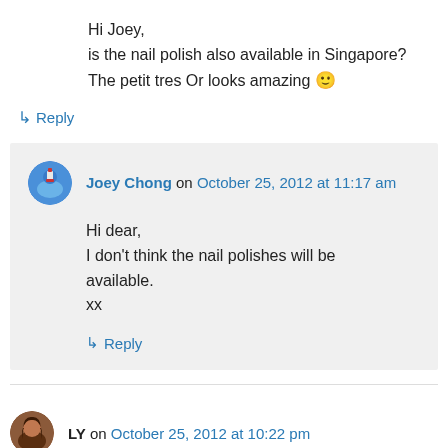Hi Joey,
is the nail polish also available in Singapore?
The petit tres Or looks amazing 🙂
↳ Reply
Joey Chong on October 25, 2012 at 11:17 am
Hi dear,
I don't think the nail polishes will be available.
xx
↳ Reply
LY on October 25, 2012 at 10:22 pm